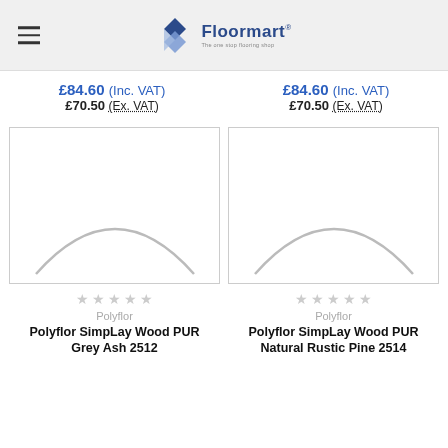Floormart - The one stop flooring shop
£84.60 (Inc. VAT) £70.50 (Ex. VAT)
£84.60 (Inc. VAT) £70.50 (Ex. VAT)
[Figure (photo): Product image placeholder for Polyflor SimpLay Wood PUR Grey Ash 2512]
[Figure (photo): Product image placeholder for Polyflor SimpLay Wood PUR Natural Rustic Pine 2514]
Polyflor
Polyflor
Polyflor SimpLay Wood PUR Grey Ash 2512
Polyflor SimpLay Wood PUR Natural Rustic Pine 2514